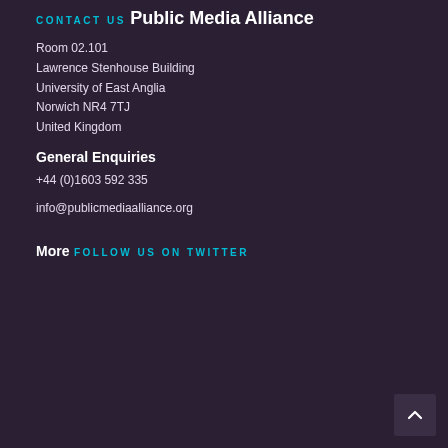CONTACT US
Public Media Alliance
Room 02.101
Lawrence Stenhouse Building
University of East Anglia
Norwich NR4 7TJ
United Kingdom
General Enquiries
+44 (0)1603 592 335
info@publicmediaalliance.org
More
FOLLOW US ON TWITTER